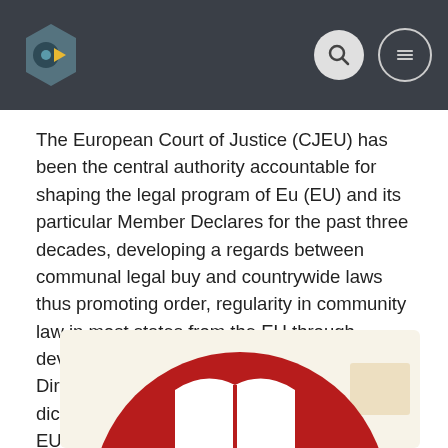[Figure (screenshot): Dark navigation header bar with a circular logo (teal/yellow hexagonal icon) on the left and search icon plus menu icon on the right]
The European Court of Justice (CJEU) has been the central authority accountable for shaping the legal program of Eu (EU) and its particular Member Declares for the past three decades, developing a regards between communal legal buy and countrywide laws thus promoting order, regularity in community law in most states from the EU through development of procession of Superiority and Direct Effect. The European Community law dictates, in cases of conflict between EUROPEAN UNION law and law of Member Declares, EU regulation prevails.
[Figure (illustration): A red circle with a white open book icon inside it, on a light cream/beige background card]